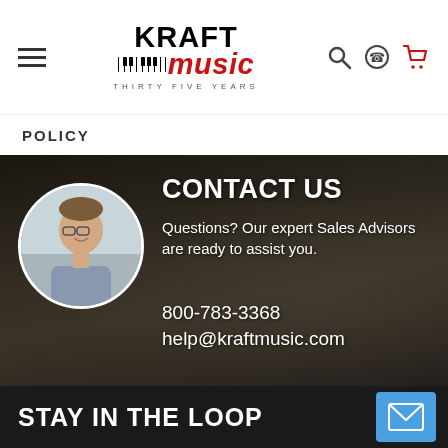Kraft Music - Thirty Five Years
POLICY
[Figure (photo): Contact Us banner with dark music studio background showing a keyboard/piano, headphones, cables. A circular avatar photo of a smiling male sales advisor is on the left. Text reads: CONTACT US / Questions? Our expert Sales Advisors are ready to assist you. / 800-783-3368 / help@kraftmusic.com]
STAY IN THE LOOP